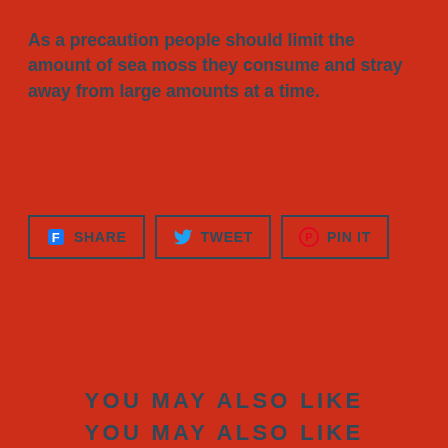As a precaution people should limit the amount of sea moss they consume and stray away from large amounts at a time.
[Figure (other): Social sharing buttons: SHARE (Facebook), TWEET (Twitter), PIN IT (Pinterest)]
YOU MAY ALSO LIKE